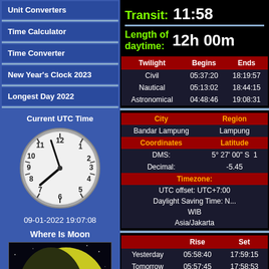Unit Converters
Time Calculator
Time Converter
New Year's Clock 2023
Longest Day 2022
Current UTC Time
09-01-2022 19:07:08
Where Is Moon
[Figure (illustration): Moon phase image showing crescent moon with Earth visible in space background]
Transit: 11:58
Length of daytime: 12h 00m
| Twilight | Begins | Ends |
| --- | --- | --- |
| Civil | 05:37:20 | 18:19:57 |
| Nautical | 05:13:02 | 18:44:15 |
| Astronomical | 04:48:46 | 19:08:31 |
| City | Region |
| --- | --- |
| Bandar Lampung | Lampung |
| Coordinates | Latitude |
| --- | --- |
| DMS: | 5° 27' 00" S  1... |
| Decimal: | -5.45 |
| Timezone: |
| --- |
| UTC offset: UTC+7:00 |
| Daylight Saving Time: N... |
| WIB |
| Asia/Jakarta |
|  | Rise | Set |
| --- | --- | --- |
| Yesterday | 05:58:40 | 17:59:15 |
| Tomorrow | 05:57:45 | 17:58:53 |